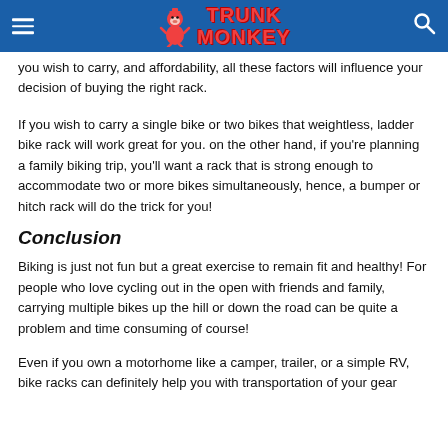Trunk Monkey
you wish to carry, and affordability, all these factors will influence your decision of buying the right rack.
If you wish to carry a single bike or two bikes that weightless, ladder bike rack will work great for you. on the other hand, if you're planning a family biking trip, you'll want a rack that is strong enough to accommodate two or more bikes simultaneously, hence, a bumper or hitch rack will do the trick for you!
Conclusion
Biking is just not fun but a great exercise to remain fit and healthy! For people who love cycling out in the open with friends and family, carrying multiple bikes up the hill or down the road can be quite a problem and time consuming of course!
Even if you own a motorhome like a camper, trailer, or a simple RV, bike racks can definitely help you with transportation of your gear